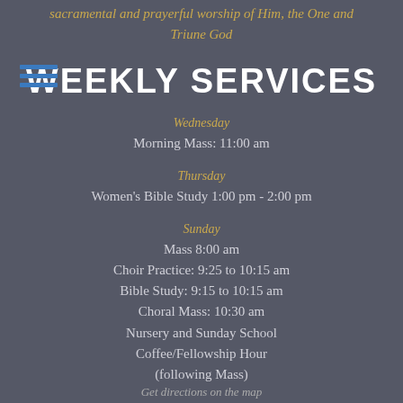sacramental and prayerful worship of Him, the One and Triune God
[Figure (other): Hamburger menu icon (three horizontal blue lines)]
WEEKLY SERVICES
Wednesday
Morning Mass: 11:00 am
Thursday
Women's Bible Study 1:00 pm - 2:00 pm
Sunday
Mass 8:00 am
Choir Practice: 9:25 to 10:15 am
Bible Study: 9:15 to 10:15 am
Choral Mass: 10:30 am
Nursery and Sunday School
Coffee/Fellowship Hour
(following Mass)
Get directions on the map